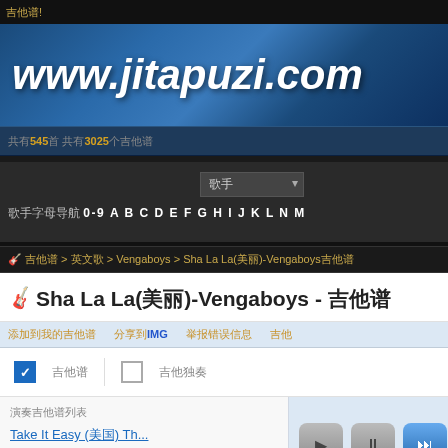吉他谱!
[Figure (screenshot): www.jitapuzi.com website banner with blue swirl background and white italic bold text]
共有545首 共有3025个吉他谱
歌手 0-9 A B C D E F G H I J K L N M
吉他谱 > 英文歌 > Vengaboys > Sha La La(美丽)-Vengaboys吉他谱
🎸Sha La La(美丽)-Vengaboys - 吉他谱
添加到我的吉他谱    分享到IMG    举报错误信息    吉他
☑ 吉他谱 □ 吉他独奏
演奏吉他谱列表
Take It Easy (美国) Th...